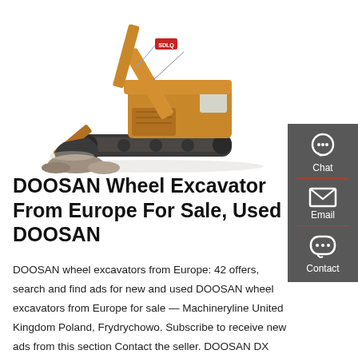[Figure (photo): A large DOOSAN/SDLG wheel excavator on a white background, with yellow and brown/tan body, digging into rocks. The machine is shown from the side with the arm extended downward.]
DOOSAN Wheel Excavator From Europe For Sale, Used DOOSAN
DOOSAN wheel excavators from Europe: 42 offers, search and find ads for new and used DOOSAN wheel excavators from Europe for sale — Machineryline United Kingdom Poland, Frydrychowo. Subscribe to receive new ads from this section Contact the seller. DOOSAN DX 190W . €107,800 PLN GBP PLN 485,000. Euro Euro 4 Suspension hydraulic
[Figure (infographic): Dark grey sidebar with three contact options: Chat (headset icon), Email (envelope icon), and Contact (speech bubble with dots icon), each separated by a red horizontal line.]